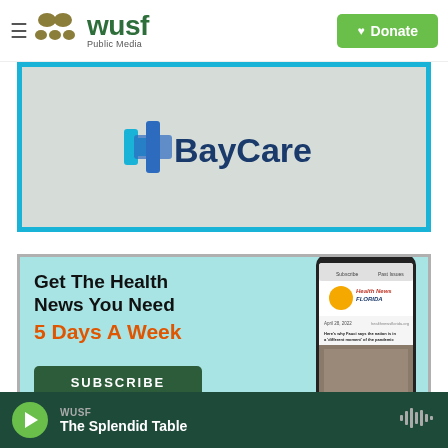WUSF Public Media — Donate
[Figure (logo): BayCare logo advertisement with teal cross icon and BayCare text on gray background with teal border]
[Figure (infographic): Health News Florida advertisement: 'Get The Health News You Need 5 Days A Week' with SUBSCRIBE button and phone mockup showing Health News Florida newsletter]
WUSF — The Splendid Table (audio player bar)